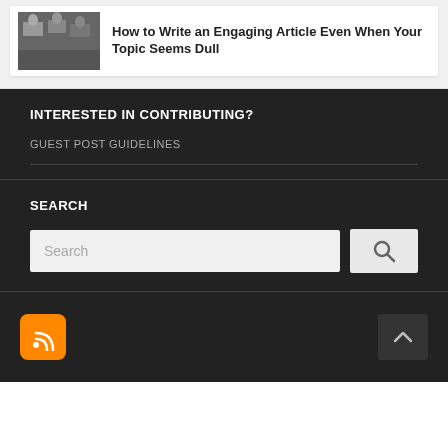[Figure (screenshot): Article thumbnail showing people at computers in a classroom or office setting]
How to Write an Engaging Article Even When Your Topic Seems Dull
INTERESTED IN CONTRIBUTING?
GUEST POST GUIDELINES
SEARCH
[Figure (screenshot): Search bar with text input field and search button with magnifying glass icon]
[Figure (logo): RSS feed orange icon at bottom left, and back-to-top arrow button at bottom right]